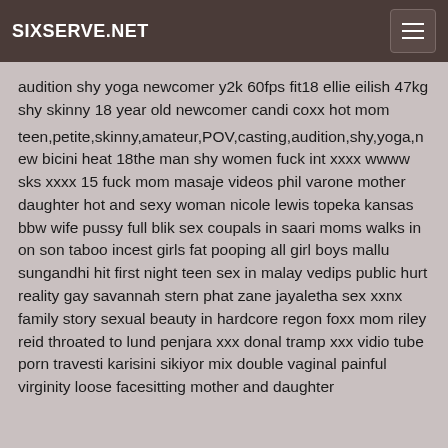SIXSERVE.NET
audition shy yoga newcomer y2k 60fps fit18 ellie eilish 47kg shy skinny 18 year old newcomer candi coxx hot mom
teen,petite,skinny,amateur,POV,casting,audition,shy,yoga,new bicini heat 18the man shy women fuck int xxxx wwww sks xxxx 15 fuck mom masaje videos phil varone mother daughter hot and sexy woman nicole lewis topeka kansas bbw wife pussy full blik sex coupals in saari moms walks in on son taboo incest girls fat pooping all girl boys mallu sungandhi hit first night teen sex in malay vedips public hurt reality gay savannah stern phat zane jayaletha sex xxnx family story sexual beauty in hardcore regon foxx mom riley reid throated to lund penjara xxx donal tramp xxx vidio tube porn travesti karisini sikiyor mix double vaginal painful virginity loose facesitting mother and daughter